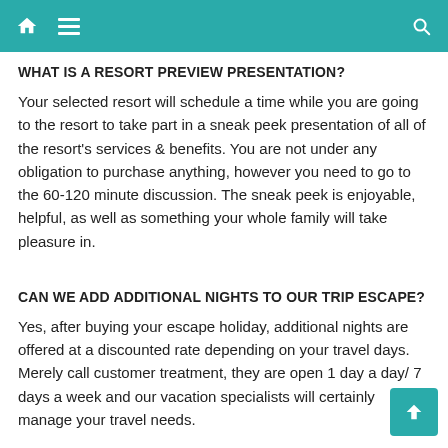WHAT IS A RESORT PREVIEW PRESENTATION?
Your selected resort will schedule a time while you are going to the resort to take part in a sneak peek presentation of all of the resort's services & benefits. You are not under any obligation to purchase anything, however you need to go to the 60-120 minute discussion. The sneak peek is enjoyable, helpful, as well as something your whole family will take pleasure in.
CAN WE ADD ADDITIONAL NIGHTS TO OUR TRIP ESCAPE?
Yes, after buying your escape holiday, additional nights are offered at a discounted rate depending on your travel days. Merely call customer treatment, they are open 1 day a day/ 7 days a week and our vacation specialists will certainly manage your travel needs.